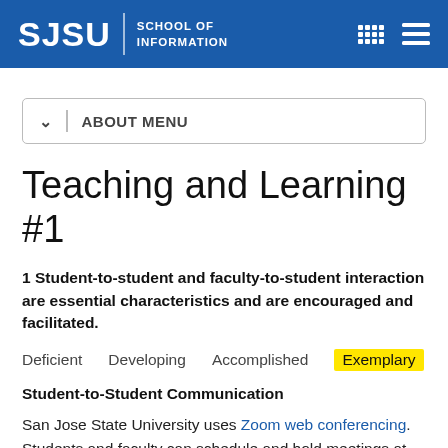SJSU | SCHOOL OF INFORMATION
ABOUT MENU
Teaching and Learning #1
1 Student-to-student and faculty-to-student interaction are essential characteristics and are encouraged and facilitated.
Deficient   Developing   Accomplished   Exemplary
Student-to-Student Communication
San Jose State University uses Zoom web conferencing. Students and faculty can schedule and hold meetings at any time and create recordings.
Zoom IM is also available for both faculty and students...